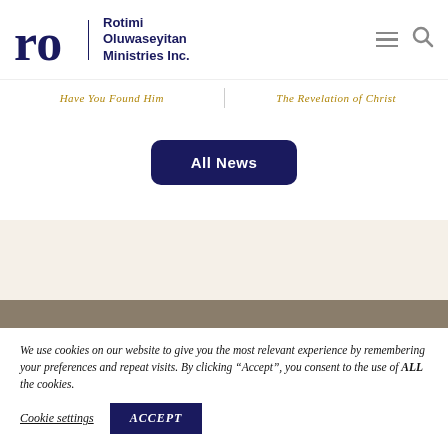[Figure (logo): Rotimi Oluwaseyitan Ministries Inc. logo with stylized 'ro' lettermark in dark navy blue and organization name in bold navy text]
Have You Found Him
The Revelation of Christ
All News
We use cookies on our website to give you the most relevant experience by remembering your preferences and repeat visits. By clicking “Accept”, you consent to the use of ALL the cookies.
Cookie settings
ACCEPT